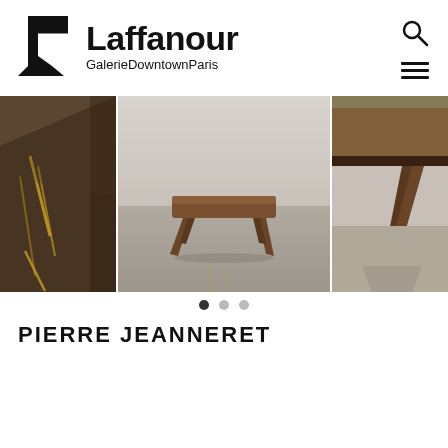[Figure (logo): Laffanour Galerie Downtown Paris logo with geometric black L-shaped icon]
[Figure (photo): Three-panel image slider showing Pierre Jeanneret furniture: close-up of dark wood table top (left), full view of a teak low stool/bench on grey floor (center), close-up of table corner with glass top (right)]
Carousel navigation dots: active dot 1 of 3
PIERRE JEANNERET